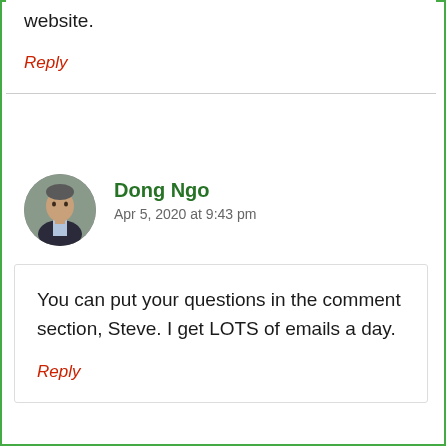website.
Reply
Dong Ngo
Apr 5, 2020 at 9:43 pm
You can put your questions in the comment section, Steve. I get LOTS of emails a day.
Reply